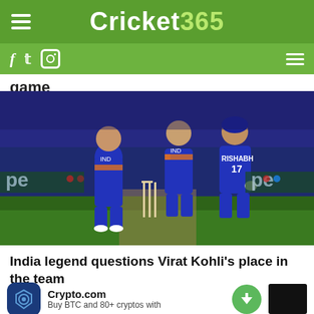Cricket 365
game
[Figure (photo): Indian cricket team players in blue jerseys celebrating on the field; player with RISHABH 17 jersey visible]
India legend questions Virat Kohli's place in the team
Crypto.com  Buy BTC and 80+ cryptos with